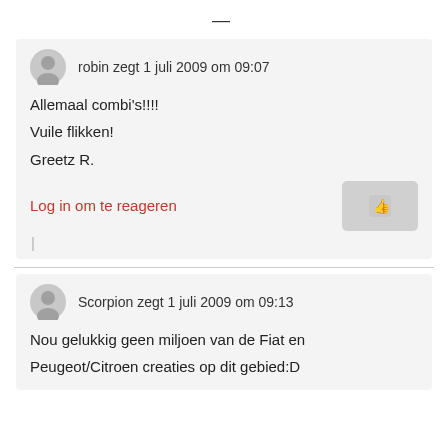—
robin zegt 1 juli 2009 om 09:07
Allemaal combi's!!!!
Vuile flikken!
Greetz R.
Log in om te reageren
Scorpion zegt 1 juli 2009 om 09:13
Nou gelukkig geen miljoen van de Fiat en Peugeot/Citroen creaties op dit gebied:D